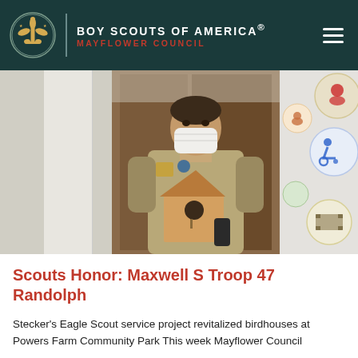BOY SCOUTS OF AMERICA® MAYFLOWER COUNCIL
[Figure (photo): A young man in Boy Scout uniform and white face mask holding a wooden birdhouse, standing in an indoor setting. On the right side are colorful merit badge patches visible.]
Scouts Honor: Maxwell S Troop 47 Randolph
Stecker's Eagle Scout service project revitalized birdhouses at Powers Farm Community Park This week Mayflower Council